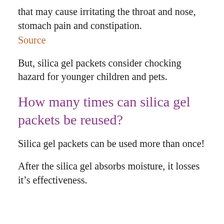that may cause irritating the throat and nose, stomach pain and constipation. Source
But, silica gel packets consider chocking hazard for younger children and pets.
How many times can silica gel packets be reused?
Silica gel packets can be used more than once!
After the silica gel absorbs moisture, it losses it’s effectiveness.